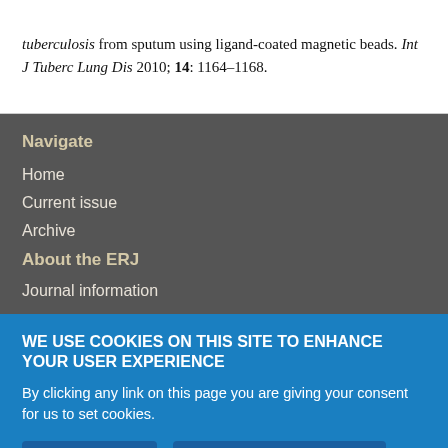tuberculosis from sputum using ligand-coated magnetic beads. Int J Tuberc Lung Dis 2010; 14: 1164–1168.
Navigate
Home
Current issue
Archive
About the ERJ
Journal information
WE USE COOKIES ON THIS SITE TO ENHANCE YOUR USER EXPERIENCE
By clicking any link on this page you are giving your consent for us to set cookies.